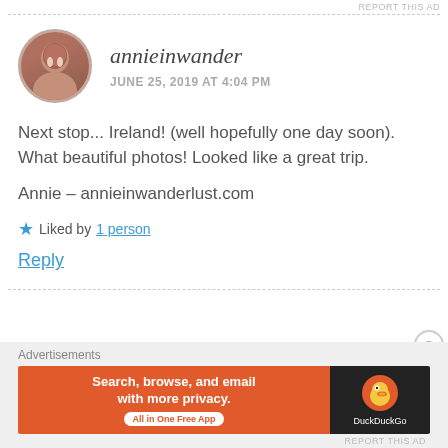REPORT THIS AD
annieinwander
JUNE 25, 2019 AT 4:04 PM
Next stop... Ireland! (well hopefully one day soon). What beautiful photos! Looked like a great trip.
Annie – annieinwanderlust.com
★ Liked by 1 person
Reply
Advertisements
[Figure (screenshot): DuckDuckGo advertisement banner with orange left side reading 'Search, browse, and email with more privacy. All in One Free App' and dark right side with DuckDuckGo duck logo]